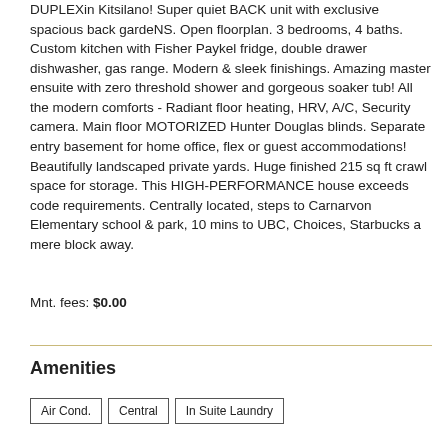DUPLEXin Kitsilano! Super quiet BACK unit with exclusive spacious back gardeNS. Open floorplan. 3 bedrooms, 4 baths. Custom kitchen with Fisher Paykel fridge, double drawer dishwasher, gas range. Modern & sleek finishings. Amazing master ensuite with zero threshold shower and gorgeous soaker tub! All the modern comforts - Radiant floor heating, HRV, A/C, Security camera. Main floor MOTORIZED Hunter Douglas blinds. Separate entry basement for home office, flex or guest accommodations! Beautifully landscaped private yards. Huge finished 215 sq ft crawl space for storage. This HIGH-PERFORMANCE house exceeds code requirements. Centrally located, steps to Carnarvon Elementary school & park, 10 mins to UBC, Choices, Starbucks a mere block away.
Mnt. fees: $0.00
Amenities
Air Cond.
Central
In Suite Laundry